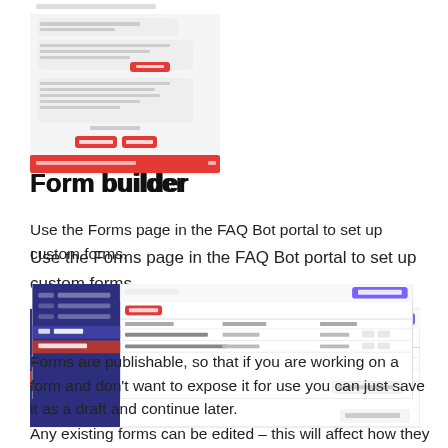[Figure (screenshot): Screenshot of a chat/bot interface with message bubbles, buttons (Reject, Next), and a red bottom bar]
Form builder
Use the Forms page in the FAQ Bot portal to set up custom forms.
[Figure (screenshot): Screenshot of the FAQ Bot portal Forms page showing a left nav with items including Forms highlighted, and a main content area with a table listing forms]
Forms are publishable, so that if you are working on a form and don't want to expose it for use you can just save it as a draft and continue later.
Any existing forms can be edited – this will affect how they work without having to update the knowledge